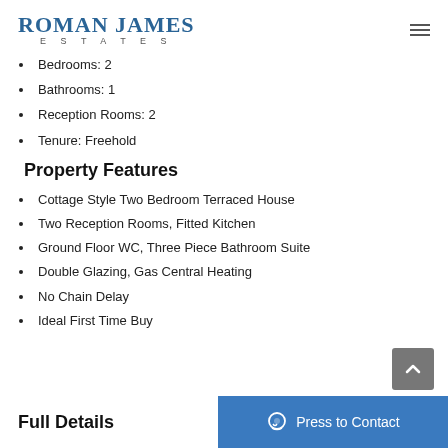Roman James Estates
Bedrooms: 2
Bathrooms: 1
Reception Rooms: 2
Tenure: Freehold
Property Features
Cottage Style Two Bedroom Terraced House
Two Reception Rooms, Fitted Kitchen
Ground Floor WC, Three Piece Bathroom Suite
Double Glazing, Gas Central Heating
No Chain Delay
Ideal First Time Buy
Full Details